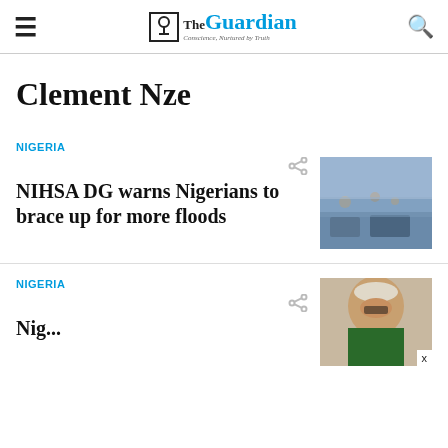The Guardian — Conscience, Nurtured by Truth
Clement Nze
NIGERIA
NIHSA DG warns Nigerians to brace up for more floods
[Figure (photo): People walking through flooded street with vehicles in background]
NIGERIA
[Figure (photo): Man in white cap and glasses, partially visible]